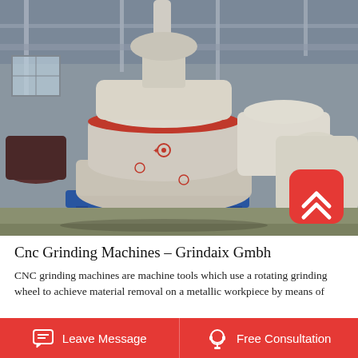[Figure (photo): Industrial factory interior showing large CNC grinding machines wrapped in white protective material with red bands, mounted on blue steel platforms, inside a warehouse with steel structural beams. A red rounded-square icon with white chevron (up arrow) is overlaid in the bottom-right corner of the photo.]
Cnc Grinding Machines – Grindaix Gmbh
CNC grinding machines are machine tools which use a rotating grinding wheel to achieve material removal on a metallic workpiece by means of